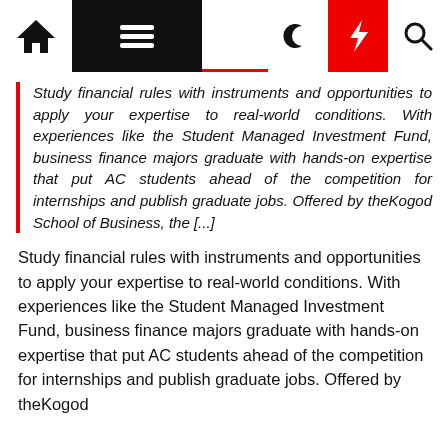[Figure (screenshot): Website navigation bar with home icon, hamburger menu (black background), moon icon, red lightning bolt icon, and search icon]
Study financial rules with instruments and opportunities to apply your expertise to real-world conditions. With experiences like the Student Managed Investment Fund, business finance majors graduate with hands-on expertise that put AC students ahead of the competition for internships and publish graduate jobs. Offered by theKogod School of Business, the [...]
Study financial rules with instruments and opportunities to apply your expertise to real-world conditions. With experiences like the Student Managed Investment Fund, business finance majors graduate with hands-on expertise that put AC students ahead of the competition for internships and publish graduate jobs. Offered by theKogod